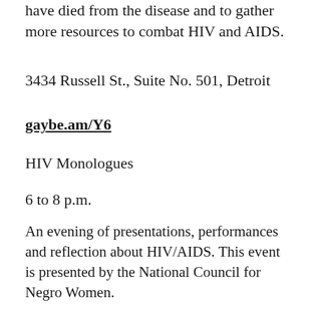have died from the disease and to gather more resources to combat HIV and AIDS.
3434 Russell St., Suite No. 501, Detroit
gaybe.am/Y6
HIV Monologues
6 to 8 p.m.
An evening of presentations, performances and reflection about HIV/AIDS. This event is presented by the National Council for Negro Women.
525 S State St., Ann Arbor
events.umich.edu/event/69700